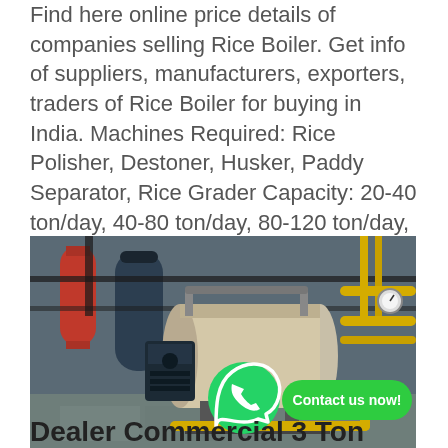Find here online price details of companies selling Rice Boiler. Get info of suppliers, manufacturers, exporters, traders of Rice Boiler for buying in India. Machines Required: Rice Polisher, Destoner, Husker, Paddy Separator, Rice Grader Capacity: 20-40 ton/day, 40-80 ton/day, 80-120 ton/day, 10-20 ton/day, 120-150 ton...
Learn More
[Figure (photo): Industrial boiler room with large cylindrical boilers mounted horizontally on stands, yellow gas pipes, black metal framework, pressure gauges, and a red tank. WhatsApp icon and 'Contact us now!' green button overlay visible.]
Dealer Commercial 3 Ton